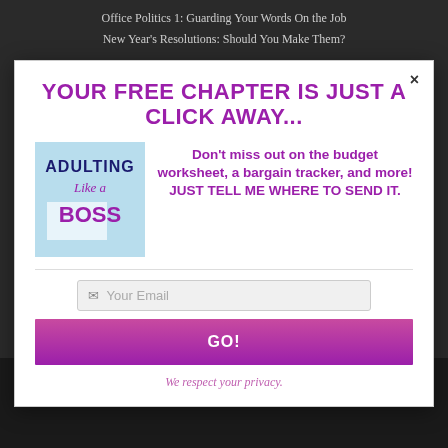Office Politics 1: Guarding Your Words On the Job
New Year's Resolutions: Should You Make Them?
YOUR FREE CHAPTER IS JUST A CLICK AWAY...
[Figure (logo): Book cover for 'Adulting Like a Boss']
Don't miss out on the budget worksheet, a bargain tracker, and more! JUST TELL ME WHERE TO SEND IT.
Your Email
GO!
We respect your privacy.
copyright 2017 Laura Thomae Young
Zerif Lite developed by ThemeIsle